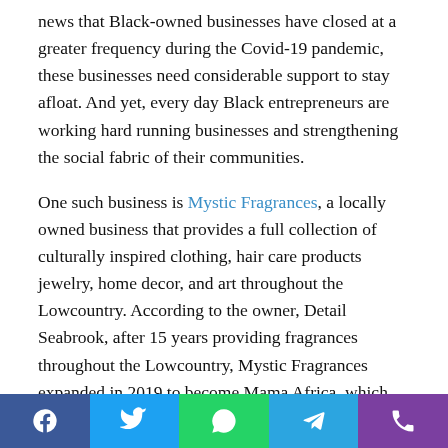news that Black-owned businesses have closed at a greater frequency during the Covid-19 pandemic, these businesses need considerable support to stay afloat. And yet, every day Black entrepreneurs are working hard running businesses and strengthening the social fabric of their communities.

One such business is Mystic Fragrances, a locally owned business that provides a full collection of culturally inspired clothing, hair care products jewelry, home decor, and art throughout the Lowcountry. According to the owner, Detail Seabrook, after 15 years providing fragrances throughout the Lowcountry, Mystic Fragrances expanded in 2019 to become Mama Africa, which now includes a full cultural experience. “With this expansion, we are better able to serve our clients both in South Carolina and across the country with a full cultural shop for the home, body, and soul.” Mama Africa
Social share bar: Facebook, Twitter, WhatsApp, Telegram, Phone